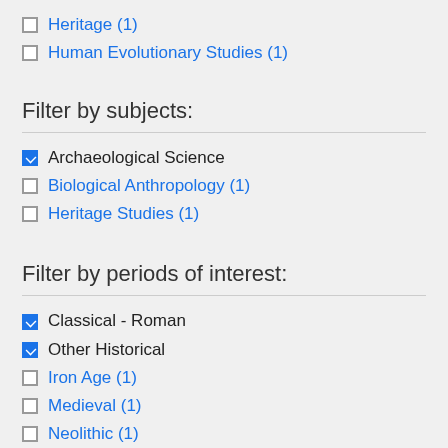Heritage (1)
Human Evolutionary Studies (1)
Filter by subjects:
Archaeological Science
Biological Anthropology (1)
Heritage Studies (1)
Filter by periods of interest:
Classical - Roman
Other Historical
Iron Age (1)
Medieval (1)
Neolithic (1)